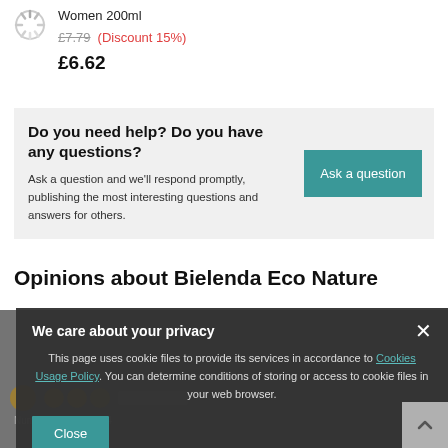Women 200ml
£7.79  (Discount 15%)  £6.62
Do you need help? Do you have any questions?
Ask a question and we'll respond promptly, publishing the most interesting questions and answers for others.
Ask a question
Opinions about Bielenda Eco Nature
We care about your privacy
This page uses cookie files to provide its services in accordance to Cookies Usage Policy. You can determine conditions of storing or access to cookie files in your web browser.
Close